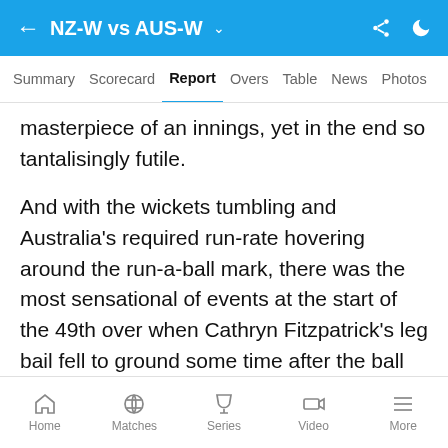NZ-W vs AUS-W
Summary  Scorecard  Report  Overs  Table  News  Photos
masterpiece of an innings, yet in the end so tantalisingly futile.
And with the wickets tumbling and Australia's required run-rate hovering around the run-a-ball mark, there was the most sensational of events at the start of the 49th over when Cathryn Fitzpatrick's leg bail fell to ground some time after the ball has passed through to the keeper. Had the ball brushed the stump or did the wind blow? The third umpire, after a long, long look, gave Fitzpatrick out bowled.
Home  Matches  Series  Video  More